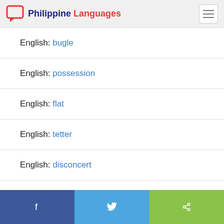Philippine Languages
English: bugle
English: possession
English: flat
English: tetter
English: disconcert
English: attemperly
Facebook | Twitter | Share